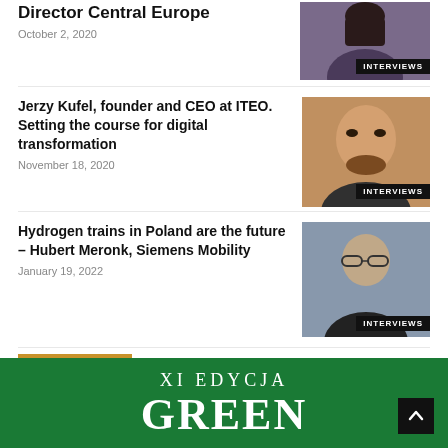Director Central Europe
October 2, 2020
Jerzy Kufel, founder and CEO at ITEO. Setting the course for digital transformation
November 18, 2020
Hydrogen trains in Poland are the future – Hubert Meronk, Siemens Mobility
January 19, 2022
WYDARZENIA
[Figure (photo): Green banner with text XI EDYCJA and GREE... (green conference/event branding)]